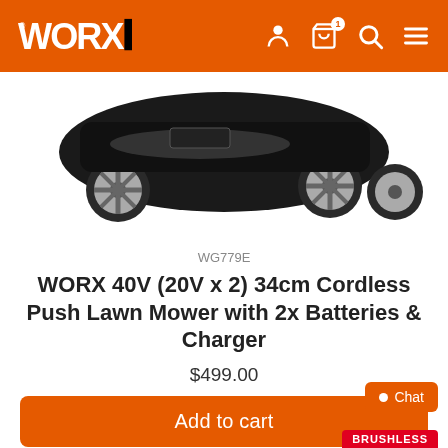WORX
[Figure (photo): Close-up of a black cordless lawn mower with silver/white wheels on a white background, showing the bottom/rear of the mower.]
WG779E
WORX 40V (20V x 2) 34cm Cordless Push Lawn Mower with 2x Batteries & Charger
$499.00
Add to cart
Chat
BRUSHLESS